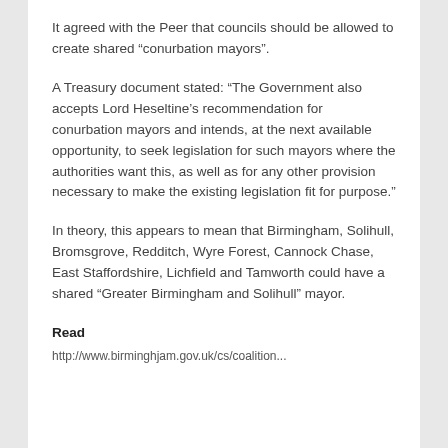It agreed with the Peer that councils should be allowed to create shared “conurbation mayors”.
A Treasury document stated: “The Government also accepts Lord Heseltine’s recommendation for conurbation mayors and intends, at the next available opportunity, to seek legislation for such mayors where the authorities want this, as well as for any other provision necessary to make the existing legislation fit for purpose.”
In theory, this appears to mean that Birmingham, Solihull, Bromsgrove, Redditch, Wyre Forest, Cannock Chase, East Staffordshire, Lichfield and Tamworth could have a shared “Greater Birmingham and Solihull” mayor.
Read
http://www.birmingham.gov.uk/cs/coalition...